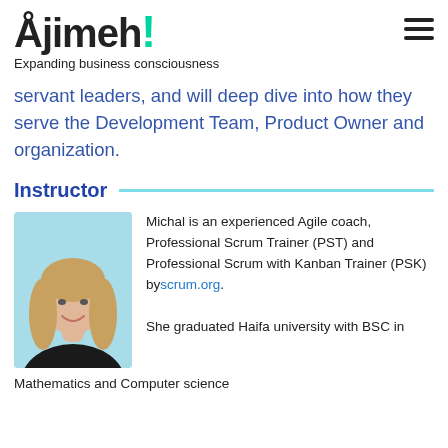[Figure (logo): Ajimeh logo with teal exclamation mark and tagline 'Expanding business consciousness']
servant leaders, and will deep dive into how they serve the Development Team, Product Owner and organization.
Instructor
[Figure (photo): Photo of Michal, a woman with blonde hair smiling, against a light blue background]
Michal is an experienced Agile coach, Professional Scrum Trainer (PST) and Professional Scrum with Kanban Trainer (PSK) by scrum.org. She graduated Haifa university with BSC in Mathematics and Computer science